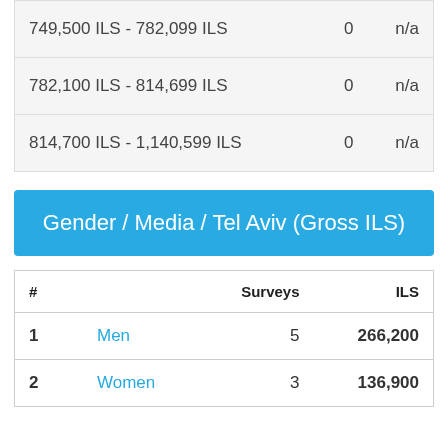|  | Surveys | ILS |
| --- | --- | --- |
| 749,500 ILS - 782,099 ILS | 0 | n/a |
| 782,100 ILS - 814,699 ILS | 0 | n/a |
| 814,700 ILS - 1,140,599 ILS | 0 | n/a |
Gender / Media / Tel Aviv (Gross ILS)
| # |  | Surveys | ILS |
| --- | --- | --- | --- |
| 1 | Men | 5 | 266,200 |
| 2 | Women | 3 | 136,900 |